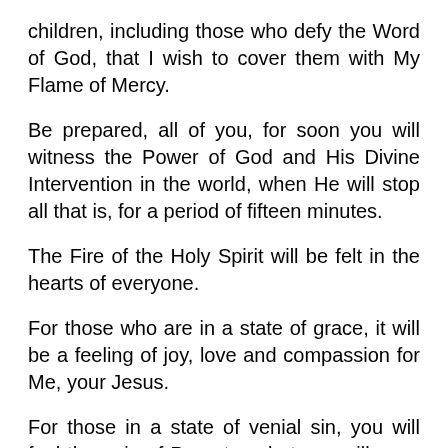children, including those who defy the Word of God, that I wish to cover them with My Flame of Mercy.
Be prepared, all of you, for soon you will witness the Power of God and His Divine Intervention in the world, when He will stop all that is, for a period of fifteen minutes.
The Fire of the Holy Spirit will be felt in the hearts of everyone.
For those who are in a state of grace, it will be a feeling of joy, love and compassion for Me, your Jesus.
For those in a state of venial sin, you will feel the pain of Purgatory, but you will soon be purified and then you will feel a deep peace and love within your hearts for Me.
For those of you in mortal sin, you will experience